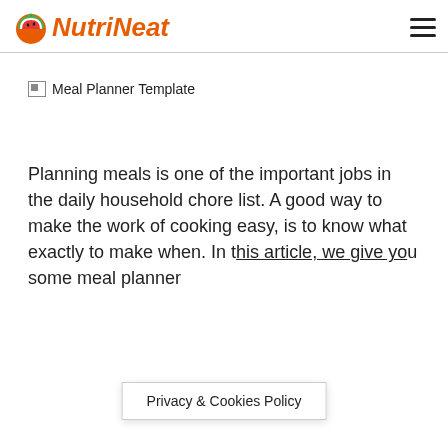NutriNeat
[Figure (illustration): Broken image placeholder labeled 'Meal Planner Template']
Meal Planner Template
Planning meals is one of the important jobs in the daily household chore list. A good way to make the work of cooking easy, is to know what exactly to make when. In t... u some meal planner
Privacy & Cookies Policy